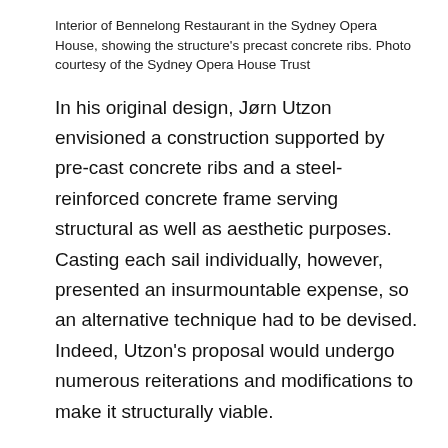Interior of Bennelong Restaurant in the Sydney Opera House, showing the structure's precast concrete ribs. Photo courtesy of the Sydney Opera House Trust
In his original design, Jørn Utzon envisioned a construction supported by pre-cast concrete ribs and a steel-reinforced concrete frame serving structural as well as aesthetic purposes. Casting each sail individually, however, presented an insurmountable expense, so an alternative technique had to be devised. Indeed, Utzon's proposal would undergo numerous reiterations and modifications to make it structurally viable.
Arup & Partners resorted to computing technology—one of the earliest uses in the history of architecture—to calculate the stress of the arches. After four years of problem solving, the solution concocted was to construct